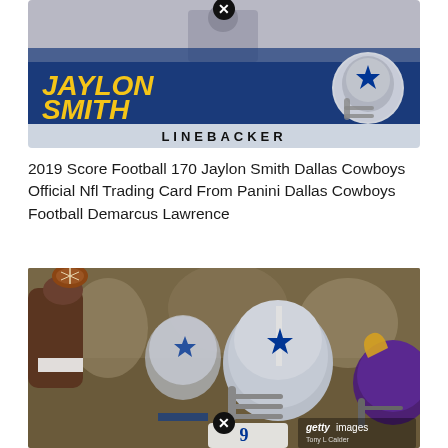[Figure (photo): 2019 Score Football trading card showing Jaylon Smith, Dallas Cowboys linebacker. Blue card with gold italic text 'JAYLON SMITH', Cowboys helmet graphic, and 'LINEBACKER' position bar. A close/X button appears at top center of card.]
2019 Score Football 170 Jaylon Smith Dallas Cowboys Official Nfl Trading Card From Panini Dallas Cowboys Football Demarcus Lawrence
[Figure (photo): Getty Images photo of Dallas Cowboys player wearing #9 jersey and silver helmet with blue star, arm raised holding a football, with a Minnesota Vikings player in purple helmet visible behind. Getty Images watermark at bottom right. Close/X button at bottom center.]